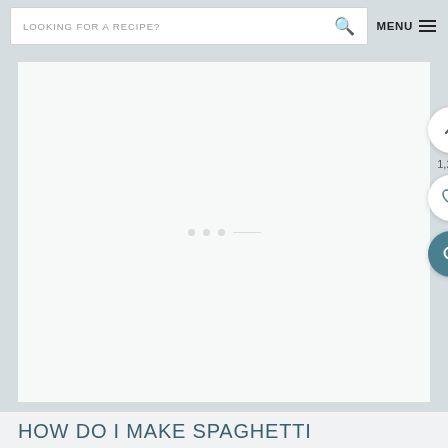LOOKING FOR A RECIPE? [search] MENU ☰
[Figure (screenshot): Large white/light gray rectangular image placeholder area with three faint dots in the center, representing a loading or blank image. On the right side are three circular buttons: an upward chevron arrow button, a heart/favorite button (both white), and a teal search/magnifying glass button. The number 1,208 appears between the chevron and heart buttons.]
HOW DO I MAKE SPAGHETTI